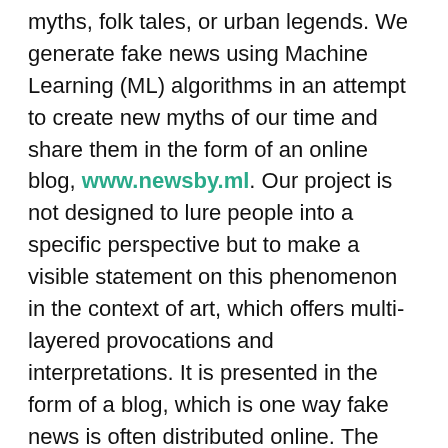myths, folk tales, or urban legends. We generate fake news using Machine Learning (ML) algorithms in an attempt to create new myths of our time and share them in the form of an online blog, www.newsby.ml. Our project is not designed to lure people into a specific perspective but to make a visible statement on this phenomenon in the context of art, which offers multi-layered provocations and interpretations. It is presented in the form of a blog, which is one way fake news is often distributed online. The correspondent, Misun Lean, is a fake journalist identity created just for this project. Her name comes as a word play on the abbreviation “ML” (hence the blog name “News by ML”) and her photograph is generated using PGGAN.
We select article topics often used for spreading fake news such as popular global issues on politics and regions of conflict. In particular, we have selected “Asia now: North Korea” and “America now: Politics”. These topics are either